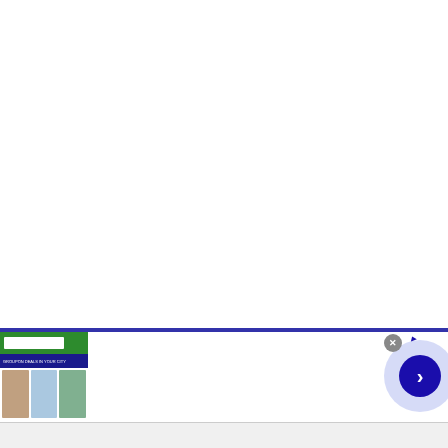[Figure (screenshot): Advertisement banner for Groupon Official Site. Shows Groupon website thumbnail on left with green header bar and search box, dark blue navigation bar, and small lifestyle images. Text reads 'Groupon Official Site | Online Shopping Deals', 'Discover & Save with Over 300k of the Best Deals', 'www.groupon.com'. Has a close button (X), an Ad info label, and a blue circle with right arrow chevron on the right side.]